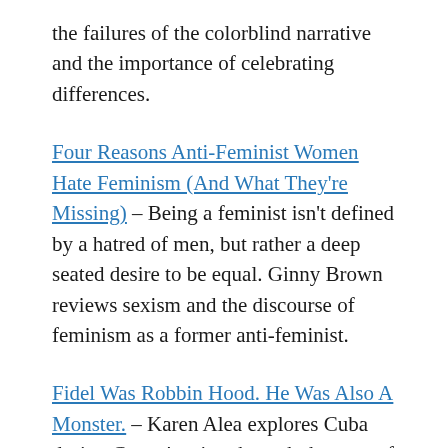the failures of the colorblind narrative and the importance of celebrating differences.
Four Reasons Anti-Feminist Women Hate Feminism (And What They're Missing) – Being a feminist isn't defined by a hatred of men, but rather a deep seated desire to be equal. Ginny Brown reviews sexism and the discourse of feminism as a former anti-feminist.
Fidel Was Robbin Hood. He Was Also A Monster. – Karen Alea explores Cuba during Castro's reign through the eyes of her friend, Mariela. The narrative paints a harrowing picture of life from inside the beautiful island